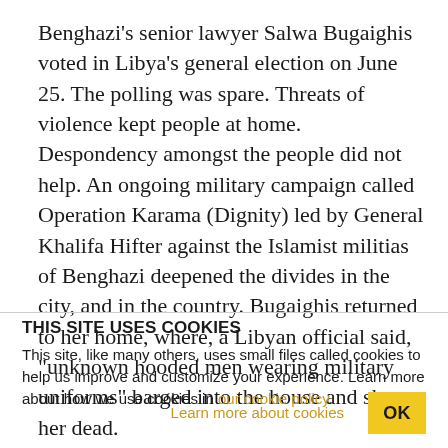Benghazi's senior lawyer Salwa Bugaighis voted in Libya's general election on June 25. The polling was spare. Threats of violence kept people at home. Despondency amongst the people did not help. An ongoing military campaign called Operation Karama (Dignity) led by General Khalifa Hifter against the Islamist militias of Benghazi deepened the divides in the city, and in the country. Bugaighis returned to her home, where, a Libyan official said, "unknown hooded men wearing military uniforms" barged into the house and shot her dead.
THIS SITE USES COOKIES
This site, like many others, uses small files called cookies to help us improve and customize your experience. Learn more about how we use cookies in our cookie policy.
Learn more about cookies
OK